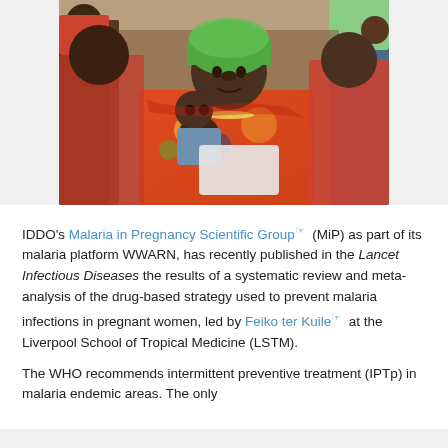[Figure (photo): A woman in colorful African dress and headwrap holding a young child, surrounded by a crowd of other women and children. The photo appears to be taken at a community health gathering in sub-Saharan Africa.]
IDDO's Malaria in Pregnancy Scientific Group (MiP) as part of its malaria platform WWARN, has recently published in the Lancet Infectious Diseases the results of a systematic review and meta-analysis of the drug-based strategy used to prevent malaria infections in pregnant women, led by Feiko ter Kuile at the Liverpool School of Tropical Medicine (LSTM).
The WHO recommends intermittent preventive treatment (IPTp) in malaria endemic areas. The only